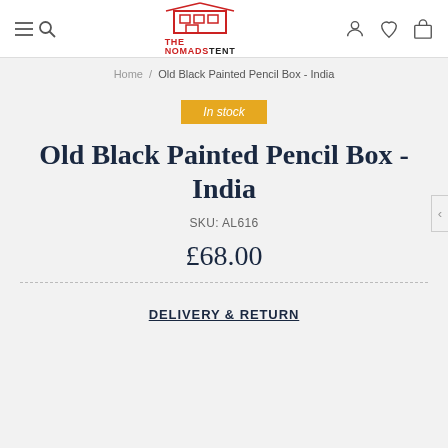The Nomads Tent — navigation header with logo, search, account, wishlist, cart icons
Home / Old Black Painted Pencil Box - India
In stock
Old Black Painted Pencil Box - India
SKU: AL616
£68.00
DELIVERY & RETURN